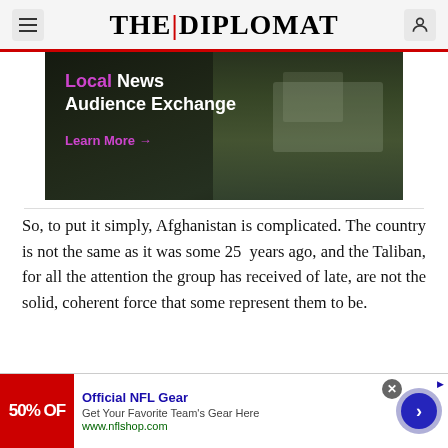THE DIPLOMAT
[Figure (screenshot): Advertisement banner showing 'Local News Audience Exchange - Learn More' text over a dark aerial city photograph]
So, to put it simply, Afghanistan is complicated. The country is not the same as it was some 25 years ago, and the Taliban, for all the attention the group has received of late, are not the solid, coherent force that some represent them to be.
[Figure (screenshot): Bottom banner advertisement for Official NFL Gear - 50% OFF - Get Your Favorite Team's Gear Here - www.nflshop.com]